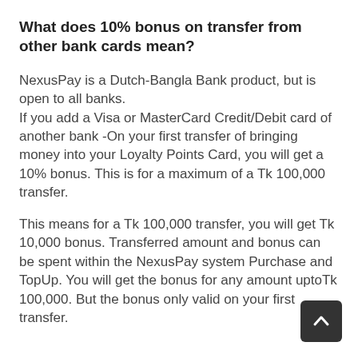What does 10% bonus on transfer from other bank cards mean?
NexusPay is a Dutch-Bangla Bank product, but is open to all banks.
If you add a Visa or MasterCard Credit/Debit card of another bank -On your first transfer of bringing money into your Loyalty Points Card, you will get a 10% bonus. This is for a maximum of a Tk 100,000 transfer.
This means for a Tk 100,000 transfer, you will get Tk 10,000 bonus. Transferred amount and bonus can be spent within the NexusPay system Purchase and TopUp. You will get the bonus for any amount uptoTk 100,000. But the bonus only valid on your first transfer.